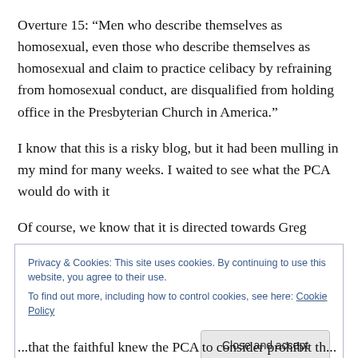Overture 15: “Men who describe themselves as homosexual, even those who describe themselves as homosexual and claim to practice celibacy by refraining from homosexual conduct, are disqualified from holding office in the Presbyterian Church in America.”
I know that this is a risky blog, but it had been mulling in my mind for many weeks. I waited to see what the PCA would do with it
Of course, we know that it is directed towards Greg
Privacy & Cookies: This site uses cookies. By continuing to use this website, you agree to their use.
To find out more, including how to control cookies, see here: Cookie Policy
Close and accept
...that the faithful knew the PCA to consider prohibit th...